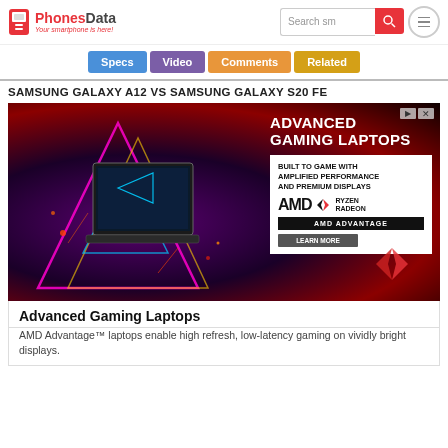PhonesData — Your smartphone is here!
Specs | Video | Comments | Related
SAMSUNG GALAXY A12 VS SAMSUNG GALAXY S20 FE
[Figure (photo): Advertisement banner for Advanced Gaming Laptops featuring AMD Advantage, with a gaming laptop surrounded by neon lights on a dark background. Text reads: ADVANCED GAMING LAPTOPS, BUILT TO GAME WITH AMPLIFIED PERFORMANCE AND PREMIUM DISPLAYS, AMD RYZEN RADEON, AMD ADVANTAGE, LEARN MORE.]
Advanced Gaming Laptops
AMD Advantage™ laptops enable high refresh, low-latency gaming on vividly bright displays.